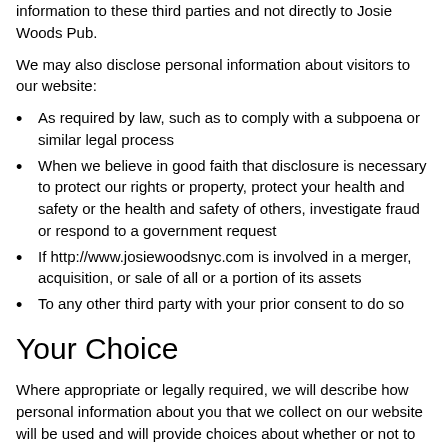information to these third parties and not directly to Josie Woods Pub.
We may also disclose personal information about visitors to our website:
As required by law, such as to comply with a subpoena or similar legal process
When we believe in good faith that disclosure is necessary to protect our rights or property, protect your health and safety or the health and safety of others, investigate fraud or respond to a government request
If http://www.josiewoodsnyc.com is involved in a merger, acquisition, or sale of all or a portion of its assets
To any other third party with your prior consent to do so
Your Choice
Where appropriate or legally required, we will describe how personal information about you that we collect on our website will be used and will provide choices about whether or not to